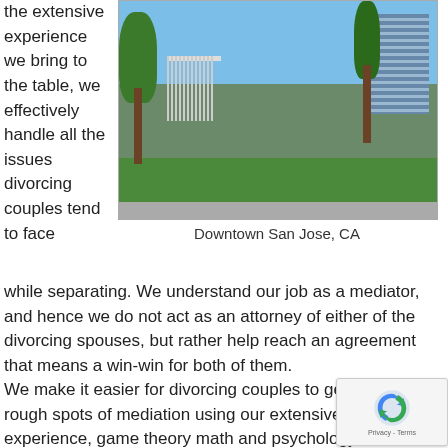the extensive experience we bring to the table, we effectively handle all the issues divorcing couples tend to face
[Figure (photo): Photograph of Downtown San Jose, CA showing flags, palm trees, green lawn, and a modern glass office building against a blue sky]
Downtown San Jose, CA
while separating. We understand our job as a mediator, and hence we do not act as an attorney of either of the divorcing spouses, but rather help reach an agreement that means a win-win for both of them.
We make it easier for divorcing couples to get through rough spots of mediation using our extensive practical experience, game theory math and psychology. Our experience with using these things effectively help us make